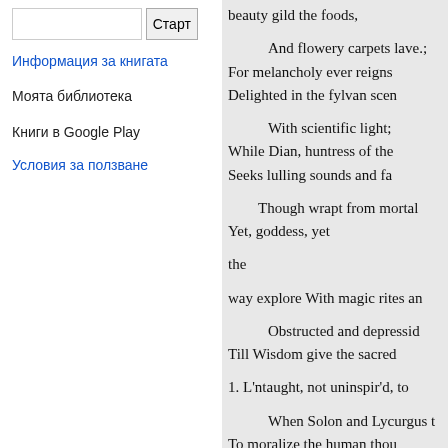Старт (button)
Информация за книгата
Моята библиотека
Книги в Google Play
Условия за ползване
beauty gild the foods,

And flowery carpets lave.;
For melancholy ever reigns
Delighted in the fylvan scen

With scientific light;
While Dian, huntress of the
Seeks lulling sounds and fa

Though wrapt from mortal
Yet, goddess, yet

the

way explore With magic rites an

Obstructed and depressid
Till Wisdom give the sacred

1. L'ntaught, not uninspir'd, to

When Solon and Lycurgus t
To moralize the human thou

Of mad opinion's maze,